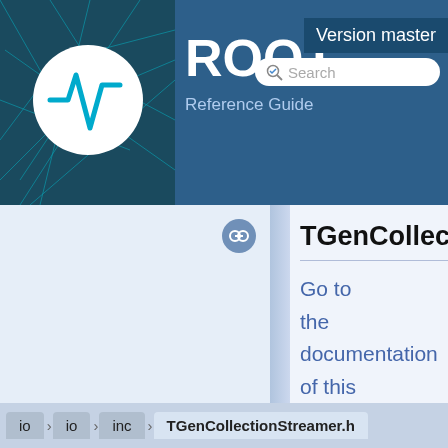[Figure (logo): ROOT framework logo with teal particle physics graphic and white circle with square root symbol]
ROOT
Reference Guide
Version master
Search
TGenCollectionS
Go to the documentation of this file.
io  io  inc  TGenCollectionStreamer.h